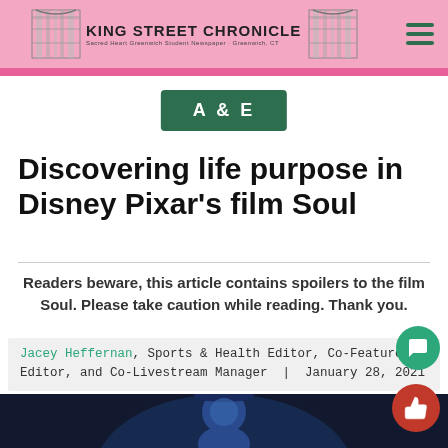King Street Chronicle — Sacred Heart Greenwich Student Newspaper — Greenwich, CT
A & E
Discovering life purpose in Disney Pixar's film Soul
Readers beware, this article contains spoilers to the film Soul. Please take caution while reading. Thank you.
Jacey Heffernan, Sports & Health Editor, Co-Features Editor, and Co-Livestream Manager | January 28, 2021
[Figure (photo): Animated character from Disney Pixar's Soul film against dark background]